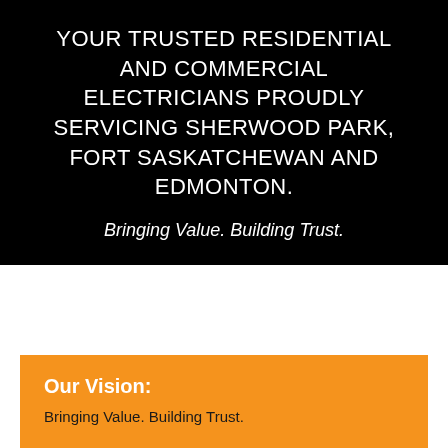YOUR TRUSTED RESIDENTIAL AND COMMERCIAL ELECTRICIANS PROUDLY SERVICING SHERWOOD PARK, FORT SASKATCHEWAN AND EDMONTON.
Bringing Value. Building Trust.
Our Vision:
Bringing Value. Building Trust.